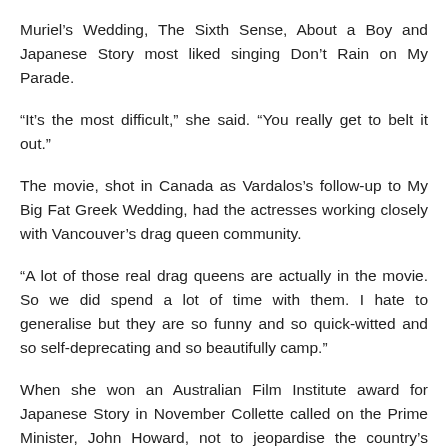Muriel's Wedding, The Sixth Sense, About a Boy and Japanese Story most liked singing Don't Rain on My Parade.
“It's the most difficult,” she said. “You really get to belt it out.”
The movie, shot in Canada as Vardalos’s follow-up to My Big Fat Greek Wedding, had the actresses working closely with Vancouver’s drag queen community.
“A lot of those real drag queens are actually in the movie. So we did spend a lot of time with them. I hate to generalise but they are so funny and so quick-witted and so self-deprecating and so beautifully camp.”
When she won an Australian Film Institute award for Japanese Story in November Collette called on the Prime Minister, John Howard, not to jeopardise the country’s cultural future by supporting the free trade agreement with the United States. Still